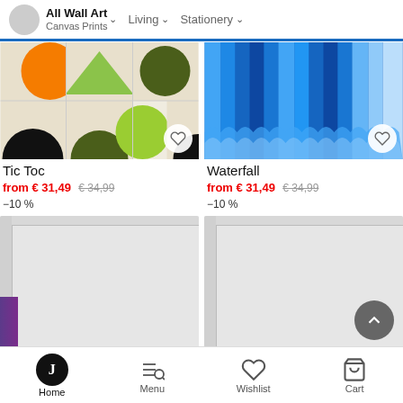All Wall Art | Canvas Prints | Living | Stationery
[Figure (illustration): Geometric art print 'Tic Toc' with orange, lime green, dark olive, and black circles and triangles on cream background]
Tic Toc
from € 31,49  €34,99  -10%
[Figure (illustration): Abstract art print 'Waterfall' with blue vertical stripes of varying shades with scalloped/wave pattern at bottom]
Waterfall
from € 31,49  €34,99  -10%
[Figure (photo): Loading placeholder image - light gray canvas print thumbnail, bottom-left]
[Figure (photo): Loading placeholder image - light gray canvas print thumbnail, bottom-right]
Home  Menu  Wishlist  Cart